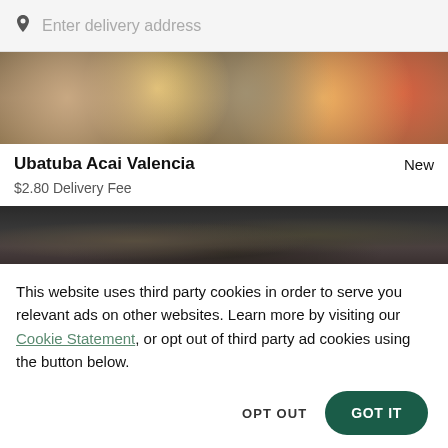Enter delivery address
[Figure (photo): Top-down view of various food bowls with fruits, grains, and toppings on a wooden table]
Ubatuba Acai Valencia
New
$2.80 Delivery Fee
[Figure (photo): Partially visible dark food photo, obscured by cookie consent overlay]
This website uses third party cookies in order to serve you relevant ads on other websites. Learn more by visiting our Cookie Statement, or opt out of third party ad cookies using the button below.
OPT OUT
GOT IT